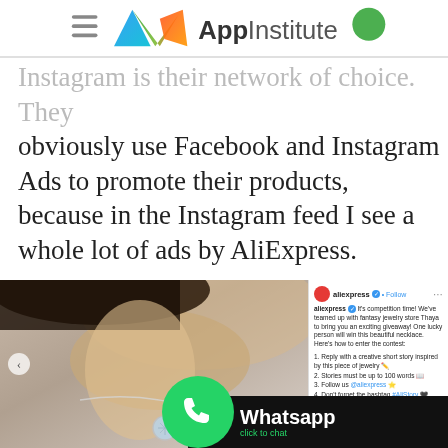AppInstitute logo header
Instagram is their network of choice. They obviously use Facebook and Instagram Ads to promote their products, because in the Instagram feed I see a whole lot of ads by AliExpress.
[Figure (screenshot): Instagram post screenshot from aliexpress account showing a necklace giveaway competition post. The post shows a woman wearing a delicate necklace with a round moonstone pendant. The caption reads: aliexpress It's competition time! We've teamed up with fantasy jewelry store Thaya to bring you an exciting giveaway! One lucky person will win this beautiful necklace. Here's how to enter the contest: 1. Reply with a creative short story inspired by this piece of jewelry 2. Stories must be up to 100 words 3. Follow us @aliexpress 4. Don't forget the hashtag #AliStory. A Whatsapp click to chat button overlay is visible at the bottom right.]